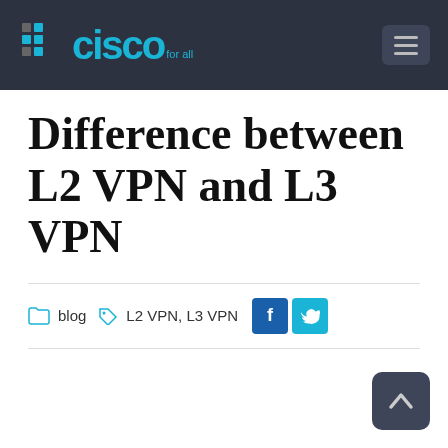cisco for all
Difference between L2 VPN and L3 VPN
blog  L2 VPN, L3 VPN